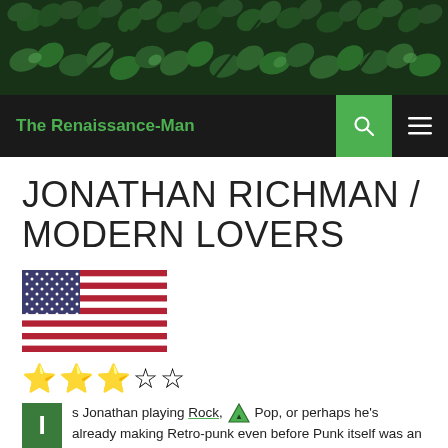[Figure (photo): Close-up photo of green fern leaves forming a dark green header banner]
The Renaissance-Man
JONATHAN RICHMAN / MODERN LOVERS
[Figure (illustration): American flag emoji/illustration]
[Figure (illustration): Three gold filled stars and two empty/outline stars - a 3 out of 5 star rating]
s Jonathan playing Rock, Pop, or perhaps he's already making Retro-punk even before Punk itself was an